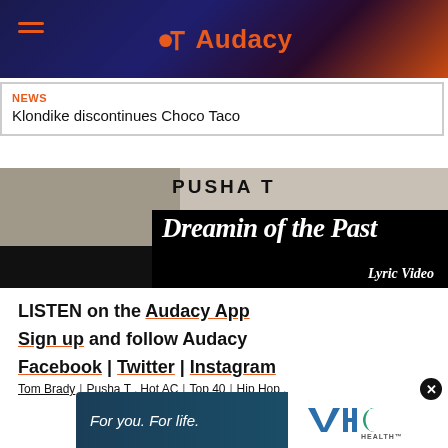Audacy
NEWS
Klondike discontinues Choco Taco
[Figure (photo): Pusha T - Dreamin of the Past Lyric Video promotional image with black and white album art]
LISTEN on the Audacy App
Sign up and follow Audacy
Facebook | Twitter | Instagram
Tom Brady | Pusha T . Hot AC | Top 40 | Hip Hop .
[Figure (other): VHC Health advertisement banner - For you. For life.]